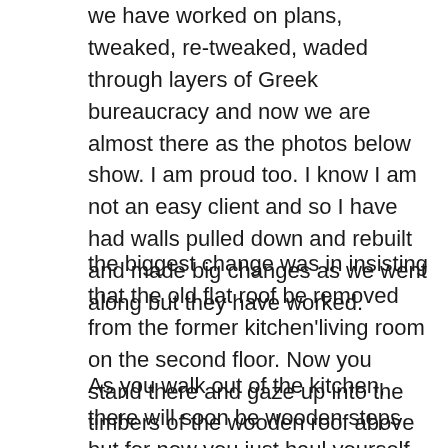we have worked on plans, tweaked, re-tweaked, waded through layers of Greek bureaucracy and now we are almost there as the photos below show. I am proud too. I know I am not an easy client and so I have had walls pulled down and rebuilt and made big changes as we went along but they have worked.
the biggest change was in insisting that the old flat roof be removed from the former kitchen'living room on the second floor. Now you stand there and gaze up into the timbers of the wooden roof above you.
As you walk out of the kitchen, there will soon be wooden steps but for now you just haul yourself onto a brick wall and if you are brave enough walk across the beams to the balcony which runs outside the room above the rat room and the upper floor of the new wing looking up into the